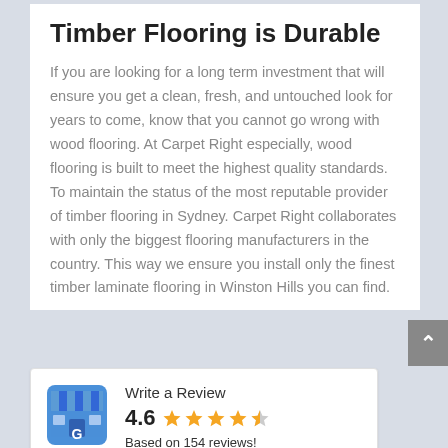Timber Flooring is Durable
If you are looking for a long term investment that will ensure you get a clean, fresh, and untouched look for years to come, know that you cannot go wrong with wood flooring. At Carpet Right especially, wood flooring is built to meet the highest quality standards. To maintain the status of the most reputable provider of timber flooring in Sydney. Carpet Right collaborates with only the biggest flooring manufacturers in the country. This way we ensure you install only the finest timber laminate flooring in Winston Hills you can find.
[Figure (logo): Google My Business icon — blue storefront with G logo]
Write a Review
4.6 ★★★★½
Based on 154 reviews!